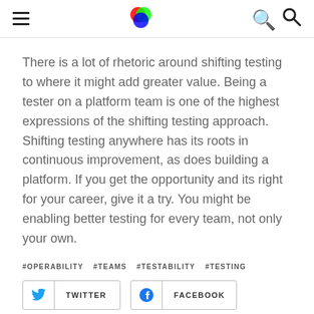Navigation header with hamburger menu, logo, and search icon
There is a lot of rhetoric around shifting testing to where it might add greater value. Being a tester on a platform team is one of the highest expressions of the shifting testing approach. Shifting testing anywhere has its roots in continuous improvement, as does building a platform. If you get the opportunity and its right for your career, give it a try. You might be enabling better testing for every team, not only your own.
#OPERABILITY
#TEAMS
#TESTABILITY
#TESTING
[Figure (other): Twitter share button with bird icon and TWITTER label]
[Figure (other): Facebook share button with f icon and FACEBOOK label]
[Figure (other): Like button with star icon and user avatar photo]